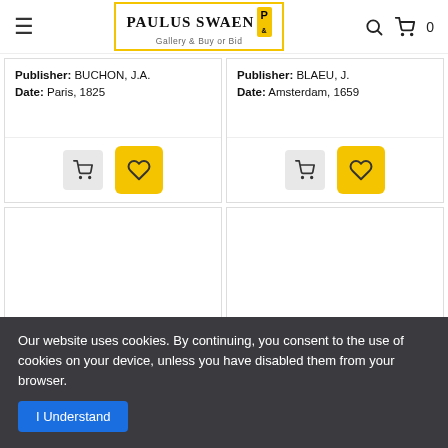Paulus Swaen Gallery & Buy or Bid
Publisher: BUCHON, J.A.
Date: Paris, 1825
Publisher: BLAEU, J.
Date: Amsterdam, 1659
[Figure (screenshot): Two empty product image placeholders for bottom row product cards]
Our website uses cookies. By continuing, you consent to the use of cookies on your device, unless you have disabled them from your browser.